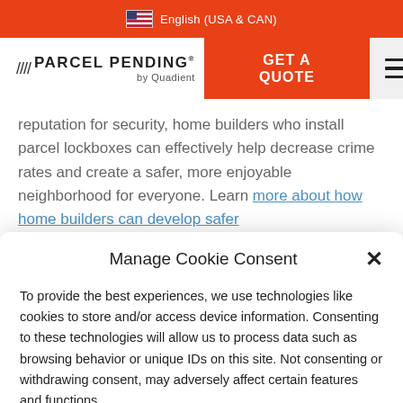English (USA & CAN)
[Figure (logo): Parcel Pending by Quadient logo with slashes]
GET A QUOTE
reputation for security, home builders who install parcel lockboxes can effectively help decrease crime rates and create a safer, more enjoyable neighborhood for everyone. Learn more about how home builders can develop safer…
Manage Cookie Consent
To provide the best experiences, we use technologies like cookies to store and/or access device information. Consenting to these technologies will allow us to process data such as browsing behavior or unique IDs on this site. Not consenting or withdrawing consent, may adversely affect certain features and functions.
Accept
Privacy  Privacy